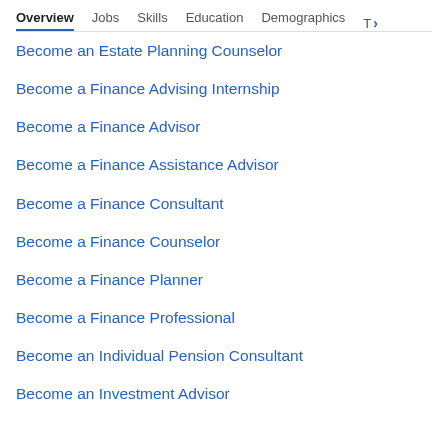Overview  Jobs  Skills  Education  Demographics  T >
Become an Estate Planning Counselor
Become a Finance Advising Internship
Become a Finance Advisor
Become a Finance Assistance Advisor
Become a Finance Consultant
Become a Finance Counselor
Become a Finance Planner
Become a Finance Professional
Become an Individual Pension Consultant
Become an Investment Advisor